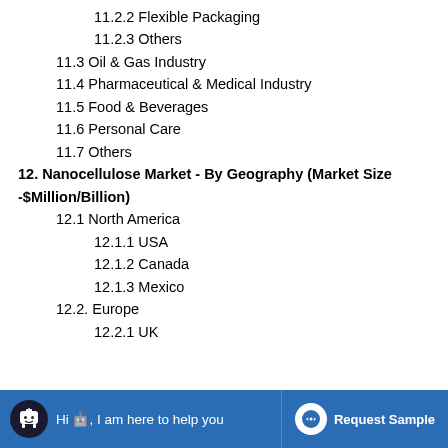11.2.2 Flexible Packaging
11.2.3 Others
11.3 Oil & Gas Industry
11.4 Pharmaceutical & Medical Industry
11.5 Food & Beverages
11.6 Personal Care
11.7 Others
12. Nanocellulose Market - By Geography (Market Size -$Million/Billion)
12.1 North America
12.1.1 USA
12.1.2 Canada
12.1.3 Mexico
12.2. Europe
12.2.1 UK